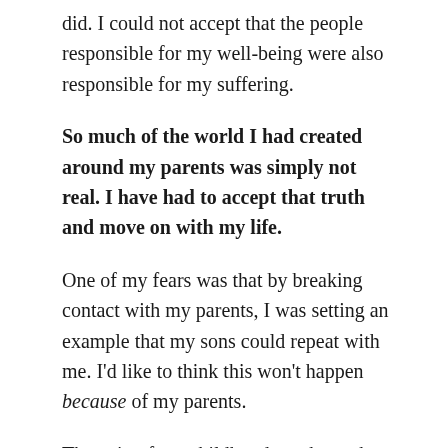did. I could not accept that the people responsible for my well-being were also responsible for my suffering.
So much of the world I had created around my parents was simply not real. I have had to accept that truth and move on with my life.
One of my fears was that by breaking contact with my parents, I was setting an example that my sons could repeat with me. I'd like to think this won't happen because of my parents.
The pain of my childhood taught me how important it is for a child to truly feel loved, safe, and cherished. I've tried to live that truth